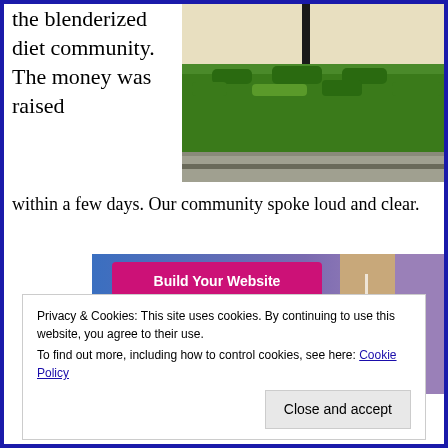the blenderized diet community. The money was raised within a few days. Our community spoke loud and clear.
[Figure (photo): Outdoor photo showing a neatly trimmed green hedge/bush with a dark pole visible above it, against a light-colored wall. Concrete curbing visible at the bottom.]
[Figure (screenshot): Screenshot of a website builder interface showing a 'Build Your Website' button with a gradient blue-to-purple background and a tan/beige vertical column element on the right side.]
Privacy & Cookies: This site uses cookies. By continuing to use this website, you agree to their use.
To find out more, including how to control cookies, see here: Cookie Policy
Close and accept